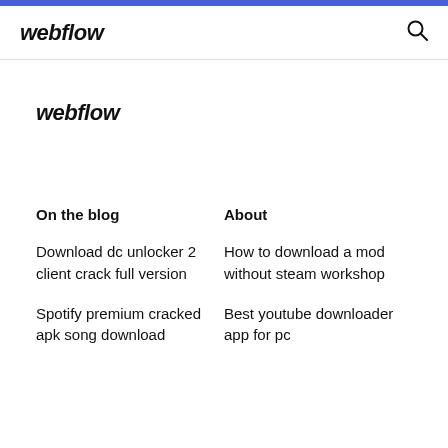webflow
webflow
On the blog
About
Download dc unlocker 2 client crack full version
How to download a mod without steam workshop
Spotify premium cracked apk song download
Best youtube downloader app for pc